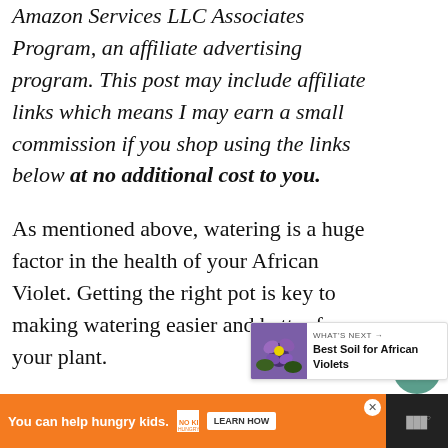Amazon Services LLC Associates Program, an affiliate advertising program. This post may include affiliate links which means I may earn a small commission if you shop using the links below at no additional cost to you.
As mentioned above, watering is a huge factor in the health of your African Violet. Getting the right pot is key to making watering easier and better for your plant.
If you’re looking for a new pot for your plant, here’s what you need to know!
[Figure (infographic): Social widget with heart/like button showing count 17, and a share button]
[Figure (infographic): What's Next card showing a purple African violet flower image with text 'Best Soil for African Violets']
[Figure (infographic): Ad banner: orange background with 'You can help hungry kids.' No Kid Hungry logo and 'LEARN HOW' button, dark right panel with WW logo]